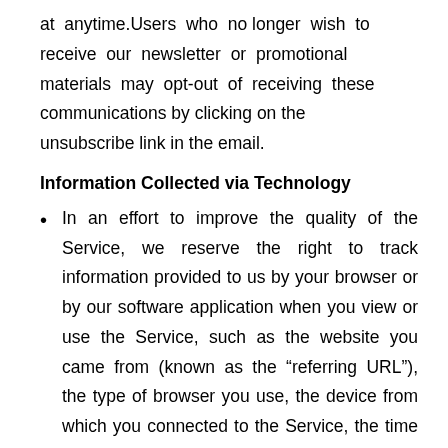at anytime.Users who no longer wish to receive our newsletter or promotional materials may opt-out of receiving these communications by clicking on the unsubscribe link in the email.
Information Collected via Technology
In an effort to improve the quality of the Service, we reserve the right to track information provided to us by your browser or by our software application when you view or use the Service, such as the website you came from (known as the “referring URL”), the type of browser you use, the device from which you connected to the Service, the time and date of access, and other information that does not personally identify you. We track this